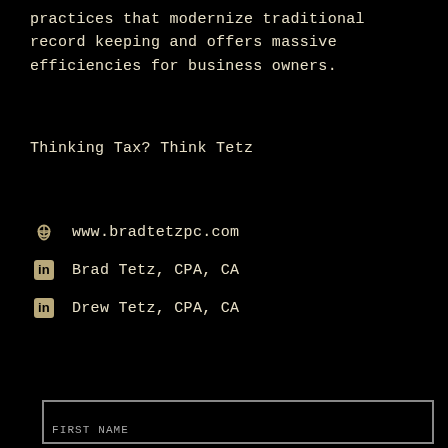practices that modernize traditional record keeping and offers massive efficiencies for business owners.
Thinking Tax? Think Tetz
www.bradtetzpc.com
Brad Tetz, CPA, CA
Drew Tetz, CPA, CA